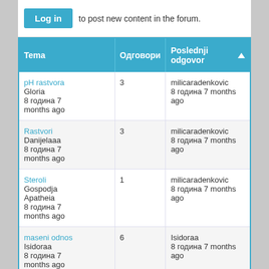Log in to post new content in the forum.
| Tema | Одговори | Poslednji odgovor ▲ |
| --- | --- | --- |
| pH rastvora
Gloria
8 година 7 months ago | 3 | milicaradenkovic
8 година 7 months ago |
| Rastvori
Danijelaaa
8 година 7 months ago | 3 | milicaradenkovic
8 година 7 months ago |
| Steroli
Gospodja Apatheia
8 година 7 months ago | 1 | milicaradenkovic
8 година 7 months ago |
| maseni odnos
Isidoraa
8 година 7 months ago | 6 | Isidoraa
8 година 7 months ago |
| Ph
stole994
8 година 7 months ago | 1 | milicaradenkovic
8 година 7 months ago |
| ph vredost
Danijelaaa
8 година 7 months ago | 1 | milicaradenkovic
8 година 7 months ago |